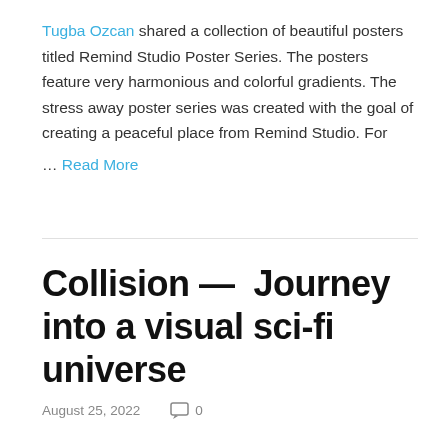Tugba Ozcan shared a collection of beautiful posters titled Remind Studio Poster Series. The posters feature very harmonious and colorful gradients. The stress away poster series was created with the goal of creating a peaceful place from Remind Studio. For … Read More
Collision — Journey into a visual sci-fi universe
August 25, 2022   0